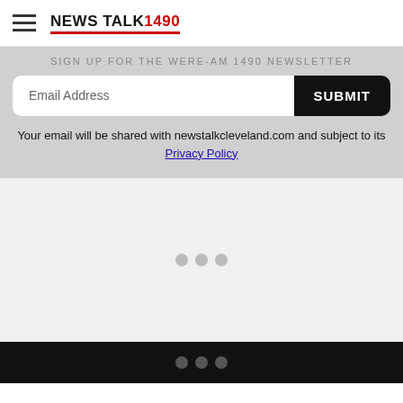NEWS TALK 1490
SIGN UP FOR THE WERE-AM 1490 NEWSLETTER
Email Address
SUBMIT
Your email will be shared with newstalkcleveland.com and subject to its Privacy Policy
[Figure (other): Loading spinner dots — three gray circles centered in a light gray content area]
[Figure (other): Three gray dots centered in a black footer bar]